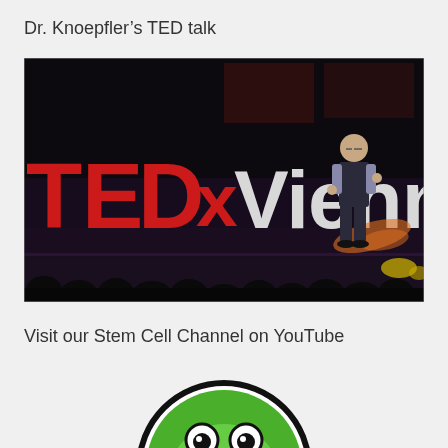Dr. Knoepfler’s TED talk
[Figure (photo): Dr. Knoepfler speaking on the TEDxVienna stage. A man stands on a dimly lit stage with large illuminated 'TEDxVienna' letters visible behind him. The audience is visible as silhouettes in the foreground.]
Visit our Stem Cell Channel on YouTube
[Figure (logo): Partial circular logo with a green frog-like character, appearing to be a YouTube channel logo for a stem cell channel.]